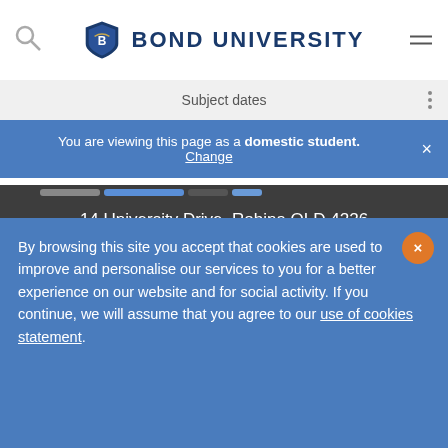Bond University
Subject dates
You are viewing this page as a domestic student. Change
14 University Drive, Robina QLD 4226
EMPLOYERS
Verification of qualifications
By browsing this site you accept that cookies are used to improve and personalise our services to you for a better experience on our website and for social activity. If you continue, we will assume that you agree to our use of cookies statement.